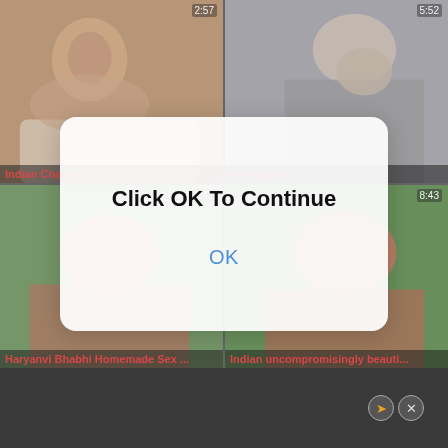[Figure (screenshot): Video thumbnail grid showing 4 video thumbnails with titles and durations. Top-left: 'Indian Chap-fall...', top-right: 'desi bhabhi', bottom-left: 'Haryanvi Bhabhi Homemade Sex...', bottom-right: 'Indian uncompromisingly beauti...']
[Figure (screenshot): Browser dialog box overlaying the video grid with text 'Click OK To Continue' and an 'OK' button in blue]
[Figure (screenshot): Close/navigation buttons at bottom right of page]